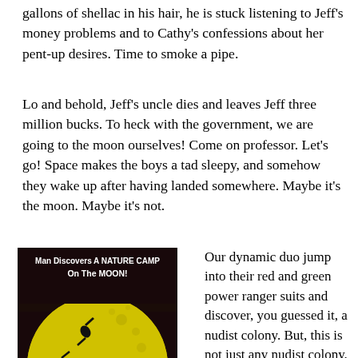gallons of shellac in his hair, he is stuck listening to Jeff's money problems and to Cathy's confessions about her pent-up desires. Time to smoke a pipe.
Lo and behold, Jeff's uncle dies and leaves Jeff three million bucks. To heck with the government, we are going to the moon ourselves! Come on professor. Let's go! Space makes the boys a tad sleepy, and somehow they wake up after having landed somewhere. Maybe it's the moon. Maybe it's not.
[Figure (illustration): Movie poster for a film featuring a nudist/nature camp on the moon. Dark background with large yellow circle (moon), silhouettes of figures, text reading 'Man Discovers A NATURE CAMP On The MOON!' and 'A truly different adventure to take you' and 'Nude' in red letters at bottom.]
Our dynamic duo jump into their red and green power ranger suits and discover, you guessed it, a nudist colony. But, this is not just any nudist colony. Actually, it's just a topless colony. Oh, and the topless Martians all have antenna through which they